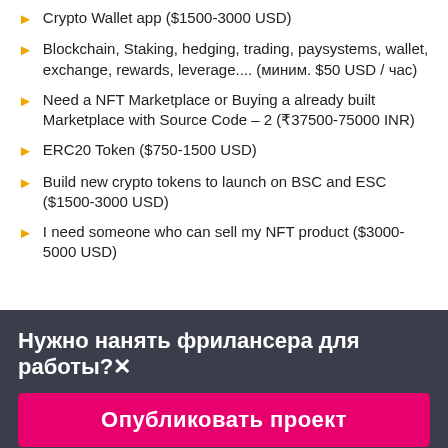Crypto Wallet app ($1500-3000 USD)
Blockchain, Staking, hedging, trading, paysystems, wallet, exchange, rewards, leverage.... (миним. $50 USD / час)
Need a NFT Marketplace or Buying a already built Marketplace with Source Code – 2 (₹37500-75000 INR)
ERC20 Token ($750-1500 USD)
Build new crypto tokens to launch on BSC and ESC ($1500-3000 USD)
I need someone who can sell my NFT product ($3000-5000 USD)
Нужно нанять фрилансера для работы?✕
Опубликовать проект